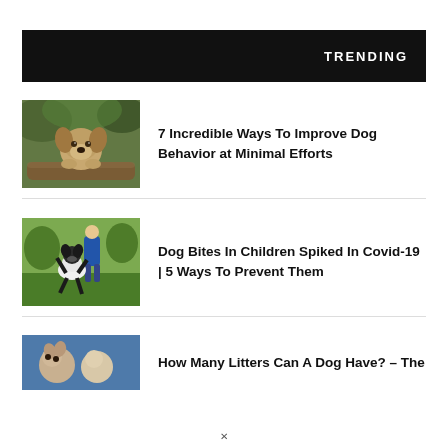TRENDING
[Figure (photo): Puppy dog looking over a log in a forest setting]
7 Incredible Ways To Improve Dog Behavior at Minimal Efforts
[Figure (photo): Child with a dog (Border Collie) jumping up at them on a grassy lawn]
Dog Bites In Children Spiked In Covid-19 | 5 Ways To Prevent Them
[Figure (photo): Partially visible image of dogs or puppies]
How Many Litters Can A Dog Have? – The…